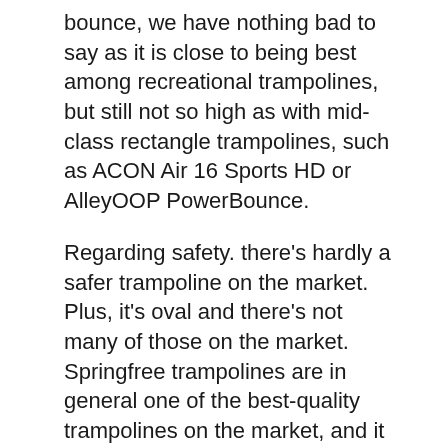bounce, we have nothing bad to say as it is close to being best among recreational trampolines, but still not so high as with mid-class rectangle trampolines, such as ACON Air 16 Sports HD or AlleyOOP PowerBounce.
Regarding safety. there's hardly a safer trampoline on the market. Plus, it's oval and there's not many of those on the market. Springfree trampolines are in general one of the best-quality trampolines on the market, and it shows in this case too. They will cost you, and this one is no exception. But if you can afford it – go for it.
Vuly Lift 2 Trampoline
Weight limit: 330 lbs